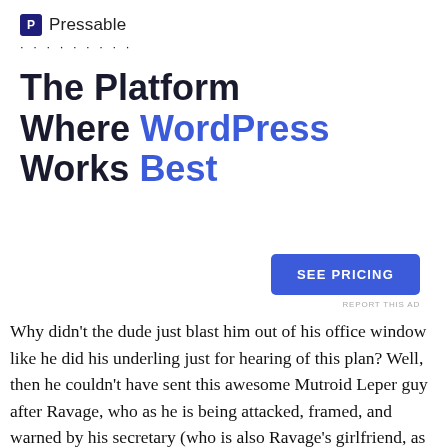Pressable
The Platform Where WordPress Works Best
[Figure (other): SEE PRICING button - blue CTA button]
REPORT THIS AD
Why didn't the dude just blast him out of his office window like he did his underling just for hearing of this plan? Well, then he couldn't have sent this awesome Mutroid Leper guy after Ravage, who as he is being attacked, framed, and warned by his secretary (who is also Ravage's girlfriend, as we just now find out on the page below), still does not understand what is happening.